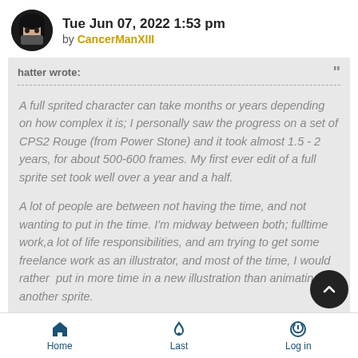Tue Jun 07, 2022 1:53 pm by CancerManXIII
hatter wrote:
A full sprited character can take months or years depending on how complex it is; I personally saw the progress on a set of CPS2 Rouge (from Power Stone) and it took almost 1.5 - 2 years, for about 500-600 frames. My first ever edit of a full sprite set took well over a year and a half.
A lot of people are between not having the time, and not wanting to put in the time. I'm midway between both; fulltime work,a lot of life responsibilities, and am trying to get some freelance work as an illustrator, and most of the time, I would rather put in more time in a new illustration than animating another sprite.
Home  Last  Log in